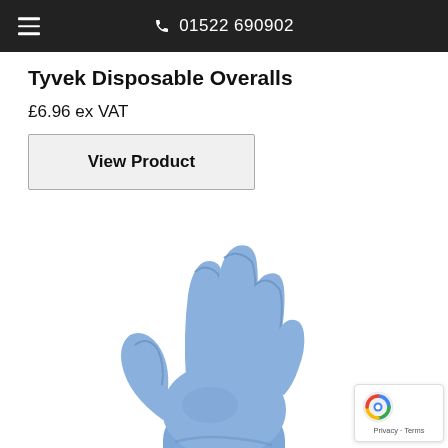≡   01522 690902
Tyvek Disposable Overalls
£6.96 ex VAT
View Product
[Figure (photo): A blue disposable nitrile glove raised with fingers spread, shown from wrist to fingertips against a white background.]
[Figure (logo): reCAPTCHA badge with Google reCAPTCHA logo and 'Privacy - Terms' text.]